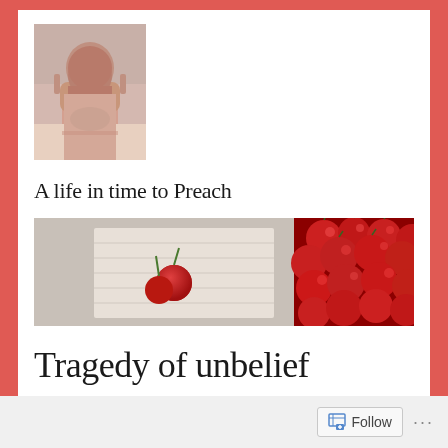[Figure (photo): Profile photo of a man in a pink shirt with hands pressed together in prayer, looking upward]
A life in time to Preach
[Figure (photo): Wide banner image of red cherries, some in a white cloth/bag on left, pile of red cherries on right]
Tragedy of unbelief
*****
Follow ...